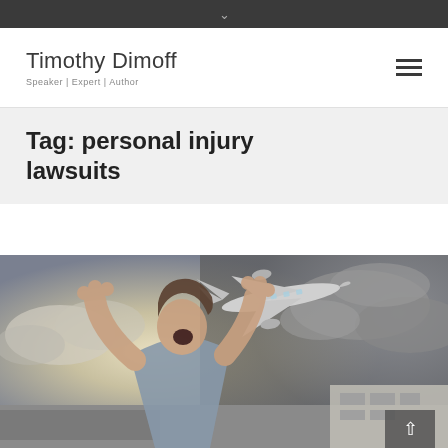Timothy Dimoff — Speaker | Expert | Author
Tag: personal injury lawsuits
[Figure (photo): A distressed woman screaming with hands raised, a commercial airplane flying low overhead, stormy cloudy sky background with a road visible behind her.]